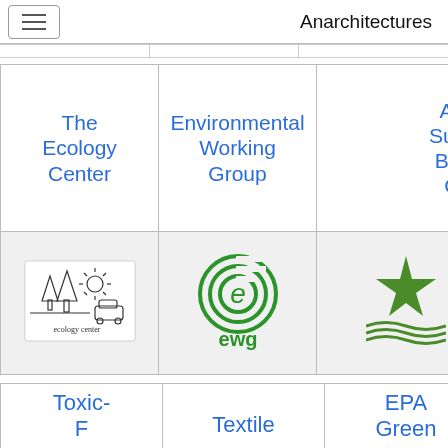Anarchitectures
| The Ecology Center | Environmental Working Group | Am Sust Bus Co |
| --- | --- | --- |
| [Ecology Center logo] | [EWG logo] | [star logo] |
| Toxic-F... | Textile | EPA Green |
| --- | --- | --- |